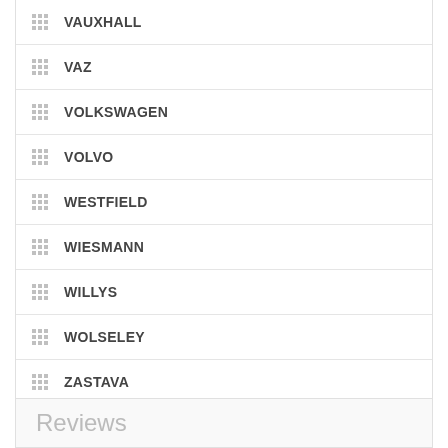VAUXHALL
VAZ
VOLKSWAGEN
VOLVO
WESTFIELD
WIESMANN
WILLYS
WOLSELEY
ZASTAVA
MOTORBIKE COVERS
WARRANTY & EXTRAS
Reviews